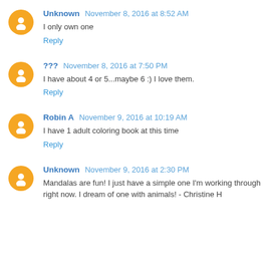Unknown November 8, 2016 at 8:52 AM
I only own one
Reply
??? November 8, 2016 at 7:50 PM
I have about 4 or 5...maybe 6 :) I love them.
Reply
Robin A November 9, 2016 at 10:19 AM
I have 1 adult coloring book at this time
Reply
Unknown November 9, 2016 at 2:30 PM
Mandalas are fun! I just have a simple one I'm working through right now. I dream of one with animals! - Christine H